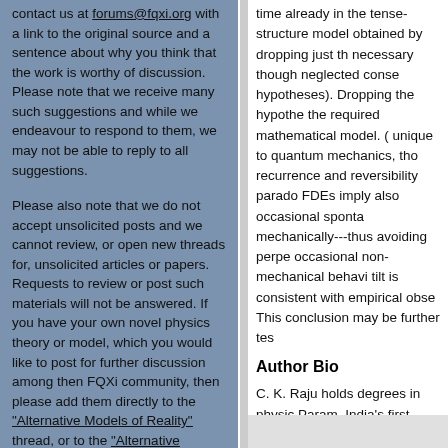contact us at forums@fqxi.org with a link to the original source and a sentence about why you think that the work is worthy of discussion. Please note that we receive many such suggestions and while we endeavour to respond to them, we may not be able to reply to all suggestions.
Please also note that we do not accept unsolicited posts and we cannot review, or open new threads for, unsolicited articles or papers. Requests to review or post such materials will not be answered. If you have your own novel physics theory or model, which you would like to post for further discussion among then FQXi community, then please add them directly to the "Alternative Models of Reality" thread, or to the "Alternative Models of Cosmology" thread. Thank you.
time already in the tense-structure model obtained by dropping just the necessary though neglected conse hypotheses). Dropping the hypothe the required mathematical model. ( unique to quantum mechanics, tho recurrence and reversibility parado FDEs imply also occasional sponta mechanically---thus avoiding perpe occasional non-mechanical behavi tilt is consistent with empirical obse This conclusion may be further tes
Author Bio
C. K. Raju holds degrees in physic Param, India's first parallel superco Consistent Theory" (Kluwer, 1994) the implications for quantum mecha Eleven Pictures of Time, Sage, 200 Philosophical Research.
Download Essay PDF File
Contests Home